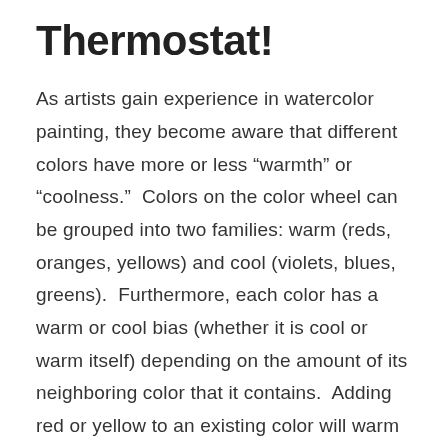Thermostat!
As artists gain experience in watercolor painting, they become aware that different colors have more or less “warmth” or “coolness.”  Colors on the color wheel can be grouped into two families: warm (reds, oranges, yellows) and cool (violets, blues, greens).  Furthermore, each color has a warm or cool bias (whether it is cool or warm itself) depending on the amount of its neighboring color that it contains.  Adding red or yellow to an existing color will warm it up; adding blue will cool it.  When you are comparing two hues, the hue closer to